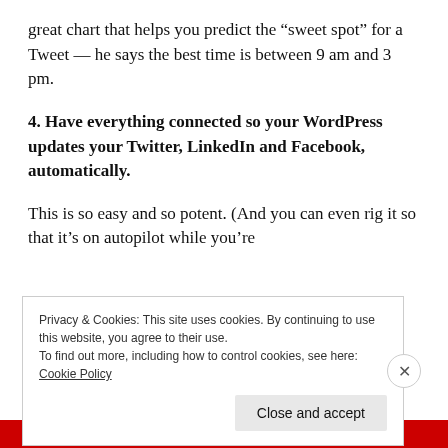great chart that helps you predict the “sweet spot” for a Tweet — he says the best time is between 9 am and 3 pm.
4. Have everything connected so your WordPress updates your Twitter, LinkedIn and Facebook, automatically.
This is so easy and so potent. (And you can even rig it so that it’s on autopilot while you’re
Privacy & Cookies: This site uses cookies. By continuing to use this website, you agree to their use.
To find out more, including how to control cookies, see here: Cookie Policy
Close and accept